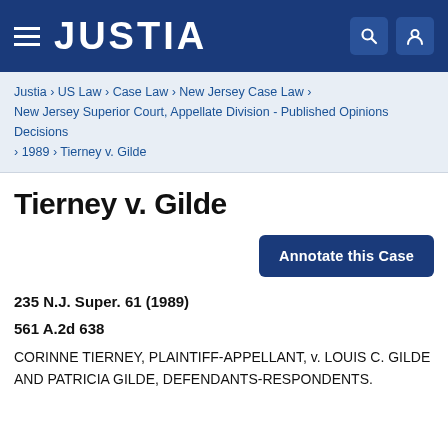JUSTIA
Justia › US Law › Case Law › New Jersey Case Law › New Jersey Superior Court, Appellate Division - Published Opinions Decisions › 1989 › Tierney v. Gilde
Tierney v. Gilde
Annotate this Case
235 N.J. Super. 61 (1989)
561 A.2d 638
CORINNE TIERNEY, PLAINTIFF-APPELLANT, v. LOUIS C. GILDE AND PATRICIA GILDE, DEFENDANTS-RESPONDENTS.